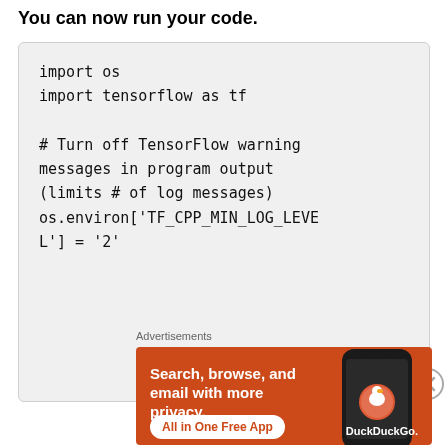You can now run your code.
[Figure (screenshot): Code block showing Python code: import os, import tensorflow as tf, # Turn off TensorFlow warning messages in program output (limits # of log messages), os.environ['TF_CPP_MIN_LOG_LEVEL'] = '2']
[Figure (illustration): DuckDuckGo advertisement banner with orange background showing 'Search, browse, and email with more privacy. All in One Free App' with DuckDuckGo logo and phone image]